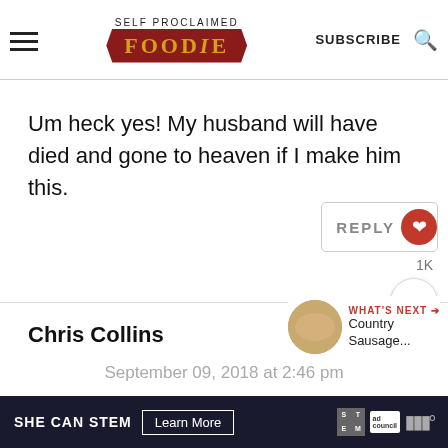SELF PROCLAIMED FOODIE | SUBSCRIBE
Um heck yes! My husband will have died and gone to heaven if I make him this.
REPLY ♥ 1K
WHAT'S NEXT → Country Sausage...
Chris Collins
September 09, 2018 at 2:46 pm
SHE CAN STEM Learn More